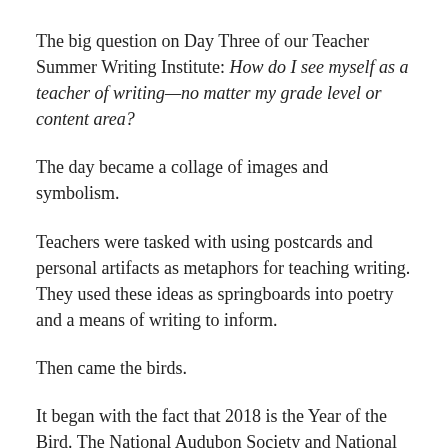The big question on Day Three of our Teacher Summer Writing Institute: How do I see myself as a teacher of writing—no matter my grade level or content area?
The day became a collage of images and symbolism.
Teachers were tasked with using postcards and personal artifacts as metaphors for teaching writing. They used these ideas as springboards into poetry and a means of writing to inform.
Then came the birds.
It began with the fact that 2018 is the Year of the Bird. The National Audubon Society and National Geographic, among other organizations, made this designation to honor the centennial of the Migratory…